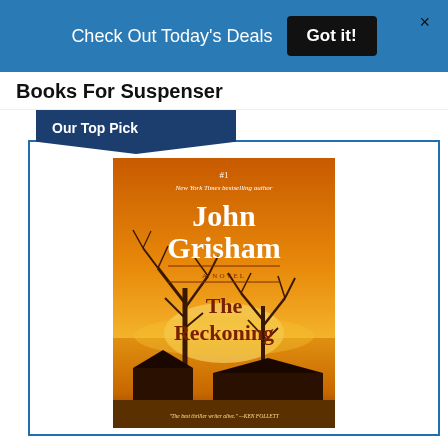Check Out Today's Deals  Got it!  ×
Books For Suspenser
Our Top Pick
[Figure (photo): Book cover of 'The Reckoning' by John Grisham. Orange/amber background with bare trees silhouetted against a golden sunset sky. Text reads: '#1 New York Times bestselling author JOHN GRISHAM A NOVEL THE RECKONING. "The best thriller writer alive." —KEN FOLLETT']